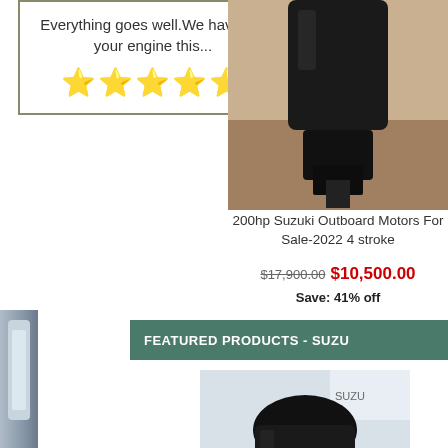Everything goes well.We have got your engine this...
[Figure (other): Five yellow star rating icons]
[Figure (photo): 200hp Suzuki outboard motor, black, rear view on stand]
200hp Suzuki Outboard Motors For Sale-2022 4 stroke
$17,900.00 $10,500.00 Save: 41% off
FEATURED PRODUCTS - SUZU...
[Figure (photo): Suzuki outboard motor displayed at exhibition, black body, front view]
[Figure (photo): Partial view of a product on the left edge (blue/grey canister)]